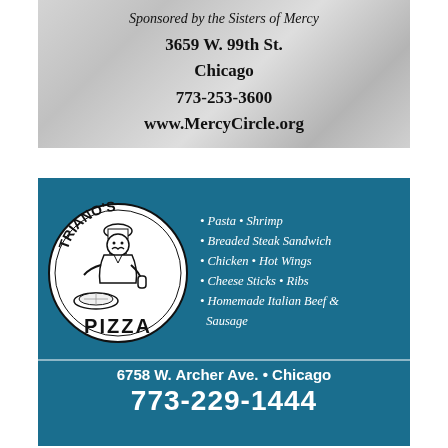[Figure (advertisement): Top advertisement with marble/gray textured background showing text: Sponsored by the Sisters of Mercy, 3659 W. 99th St., Chicago, 773-253-3600, www.MercyCircle.org]
Sponsored by the Sisters of Mercy
3659 W. 99th St.
Chicago
773-253-3600
www.MercyCircle.org
[Figure (advertisement): Triano's Pizza advertisement with teal/blue background, circular logo with chef and pizza graphic, menu items listed, address and phone number]
• Pasta • Shrimp
• Breaded Steak Sandwich
• Chicken • Hot Wings
• Cheese Sticks • Ribs
• Homemade Italian Beef & Sausage
6758 W. Archer Ave. • Chicago
773-229-1444